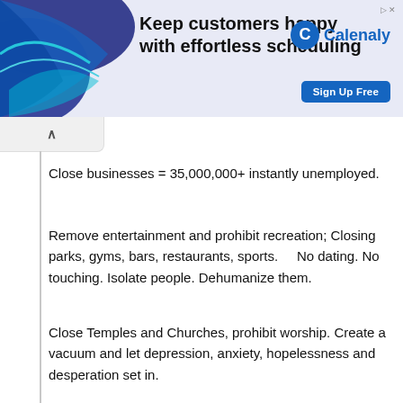[Figure (other): Advertisement banner for Calenaly scheduling app with blue gradient background, decorative waves, bold headline 'Keep customers happy with effortless scheduling', Calenaly logo, and 'Sign Up Free' button]
Close businesses = 35,000,000+ instantly unemployed.
Remove entertainment and prohibit recreation; Closing parks, gyms, bars, restaurants, sports.    No dating. No touching. Isolate people. Dehumanize them.
Close Temples and Churches, prohibit worship. Create a vacuum and let depression, anxiety, hopelessness and desperation set in.
Then... ignite hatred and civil unrest, creating Civil War.